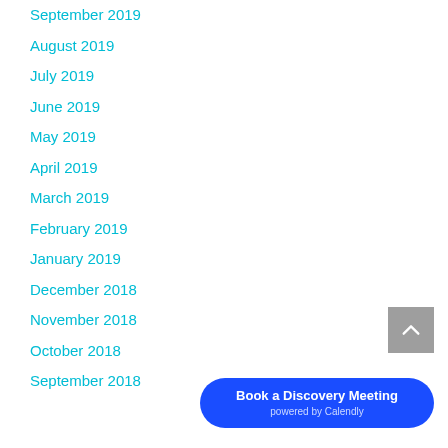September 2019
August 2019
July 2019
June 2019
May 2019
April 2019
March 2019
February 2019
January 2019
December 2018
November 2018
October 2018
September 2018
Book a Discovery Meeting
powered by Calendly